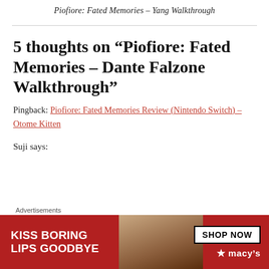Piofiore: Fated Memories – Yang Walkthrough
5 thoughts on “Piofiore: Fated Memories – Dante Falzone Walkthrough”
Pingback: Piofiore: Fated Memories Review (Nintendo Switch) – Otome Kitten
Suji says:
[Figure (other): Advertisement banner: 'KISS BORING LIPS GOODBYE' with SHOP NOW button and Macy's logo]